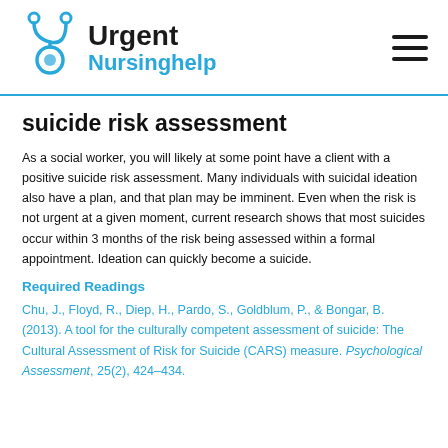Urgent Nursinghelp
suicide risk assessment
As a social worker, you will likely at some point have a client with a positive suicide risk assessment. Many individuals with suicidal ideation also have a plan, and that plan may be imminent. Even when the risk is not urgent at a given moment, current research shows that most suicides occur within 3 months of the risk being assessed within a formal appointment. Ideation can quickly become a suicide.
Required Readings
Chu, J., Floyd, R., Diep, H., Pardo, S., Goldblum, P., & Bongar, B. (2013). A tool for the culturally competent assessment of suicide: The Cultural Assessment of Risk for Suicide (CARS) measure. Psychological Assessment, 25(2), 424–434.